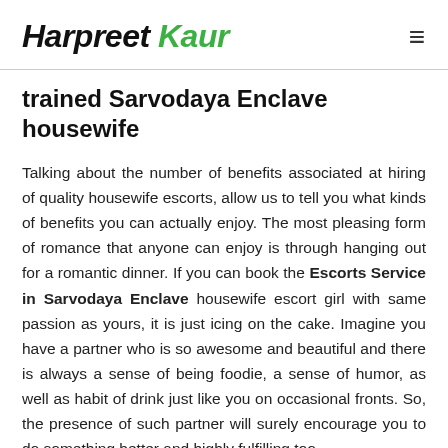Harpreet Kaur
trained Sarvodaya Enclave housewife
Talking about the number of benefits associated at hiring of quality housewife escorts, allow us to tell you what kinds of benefits you can actually enjoy. The most pleasing form of romance that anyone can enjoy is through hanging out for a romantic dinner. If you can book the Escorts Service in Sarvodaya Enclave housewife escort girl with same passion as yours, it is just icing on the cake. Imagine you have a partner who is so awesome and beautiful and there is always a sense of being foodie, a sense of humor, as well as habit of drink just like you on occasional fronts. So, the presence of such partner will surely encourage you to do something better and highly fulfilling too.